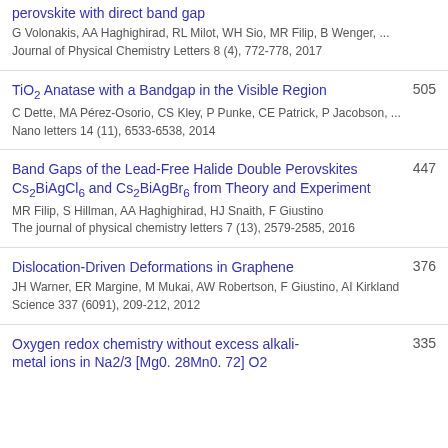perovskite with direct band gap — G Volonakis, AA Haghighirad, RL Milot, WH Sio, MR Filip, B Wenger, ... — Journal of Physical Chemistry Letters 8 (4), 772-778, 2017
TiO2 Anatase with a Bandgap in the Visible Region — C Dette, MA Pérez-Osorio, CS Kley, P Punke, CE Patrick, P Jacobson, ... — Nano letters 14 (11), 6533-6538, 2014 — 505
Band Gaps of the Lead-Free Halide Double Perovskites Cs2BiAgCl6 and Cs2BiAgBr6 from Theory and Experiment — MR Filip, S Hillman, AA Haghighirad, HJ Snaith, F Giustino — The journal of physical chemistry letters 7 (13), 2579-2585, 2016 — 447
Dislocation-Driven Deformations in Graphene — JH Warner, ER Margine, M Mukai, AW Robertson, F Giustino, AI Kirkland — Science 337 (6091), 209-212, 2012 — 376
Oxygen redox chemistry without excess alkali-metal ions in Na2/3 [Mg0.28Mn0.72] O2 — 335